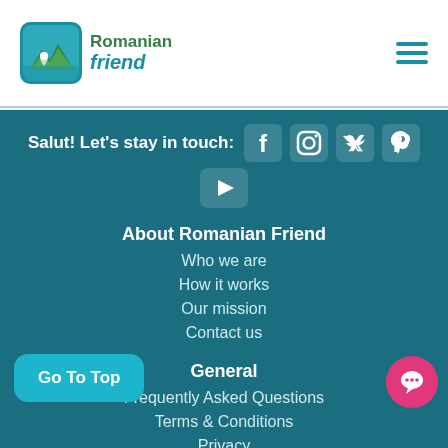[Figure (logo): Romanian Friend logo with green mountain/landscape icon and teal 'Romanian friend' text]
Romanian friend
Salut! Let's stay in touch:
[Figure (infographic): Social media icons: Facebook, Instagram, Twitter, Pinterest, YouTube]
About Romanian Friend
Who we are
How it works
Our mission
Contact us
General
Frequently Asked Questions
Terms & Conditions
Privacy